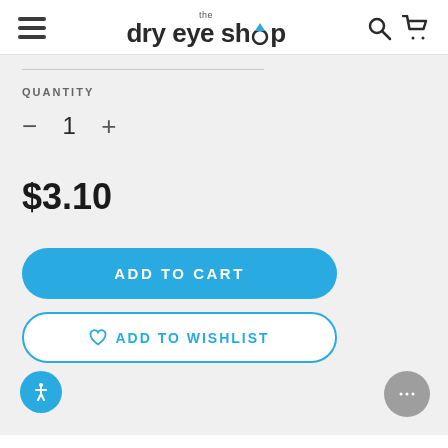the dry eye shop
QUANTITY
- 1 +
$3.10
ADD TO CART
ADD TO WISHLIST